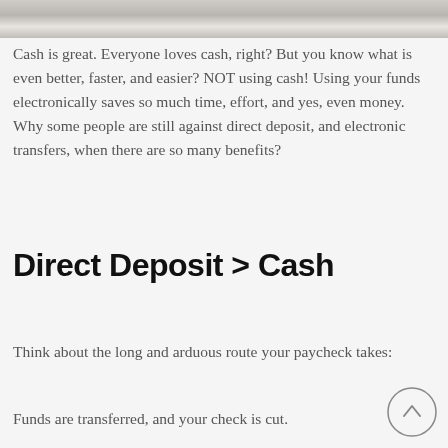[Figure (photo): Partial photograph strip at top of page showing what appears to be a desk or financial document scene in grayscale/muted tones]
Cash is great. Everyone loves cash, right? But you know what is even better, faster, and easier? NOT using cash! Using your funds electronically saves so much time, effort, and yes, even money. Why some people are still against direct deposit, and electronic transfers, when there are so many benefits?
Direct Deposit > Cash
Think about the long and arduous route your paycheck takes:
Funds are transferred, and your check is cut.
You take your check to the bank, to cash or to deposit